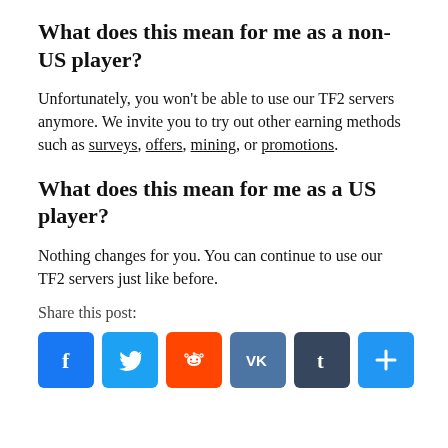What does this mean for me as a non-US player?
Unfortunately, you won't be able to use our TF2 servers anymore. We invite you to try out other earning methods such as surveys, offers, mining, or promotions.
What does this mean for me as a US player?
Nothing changes for you. You can continue to use our TF2 servers just like before.
Share this post:
[Figure (other): Social share buttons: Facebook, Twitter, Reddit, VK, Tumblr, Share]